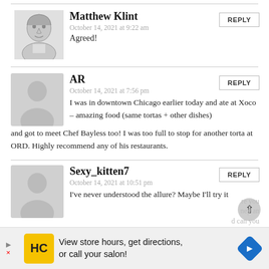[Figure (illustration): Sketch portrait of Matthew Klint]
Matthew Klint
October 14, 2021 at 9:22 am
Agreed!
[Figure (illustration): Generic grey silhouette avatar for AR]
AR
October 14, 2021 at 7:56 pm
I was in downtown Chicago earlier today and ate at Xoco – amazing food (same tortas + other dishes) and got to meet Chef Bayless too! I was too full to stop for another torta at ORD. Highly recommend any of his restaurants.
[Figure (illustration): Generic grey silhouette avatar for Sexy_kitten7]
Sexy_kitten7
October 14, 2021 at 10:51 pm
I've never understood the allure? Maybe I'll try it
[Figure (infographic): Advertisement banner: View store hours, get directions, or call your salon!]